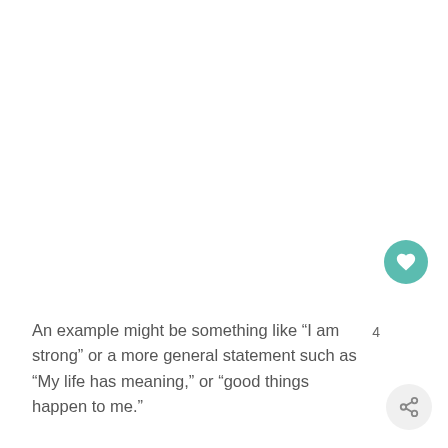An example might be something like “I am strong” or a more general statement such as “My life has meaning,” or “good things happen to me.”